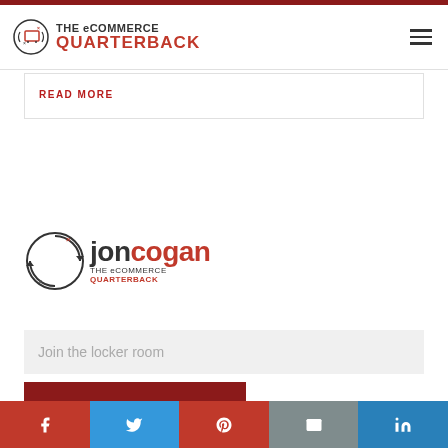THE eCOMMERCE QUARTERBACK
READ MORE
[Figure (logo): Jon Cogan – The eCommerce Quarterback logo with circular arrow icon]
Join the locker room
SIGN UP
Facebook | Twitter | Pinterest | Email | LinkedIn social share bar